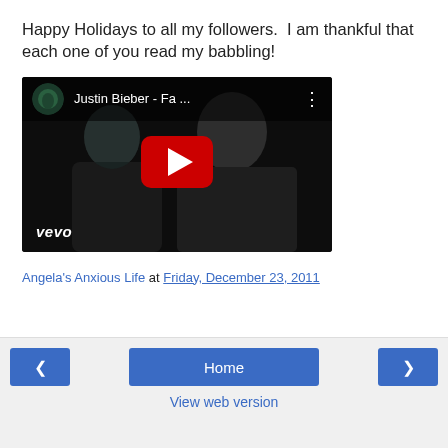Happy Holidays to all my followers.  I am thankful that each one of you read my babbling!
[Figure (screenshot): YouTube video thumbnail showing Justin Bieber - Fa... with vevo branding, dark black and white image of two people, red play button in center, channel icon in top left corner]
Angela's Anxious Life at Friday, December 23, 2011
< Home > View web version